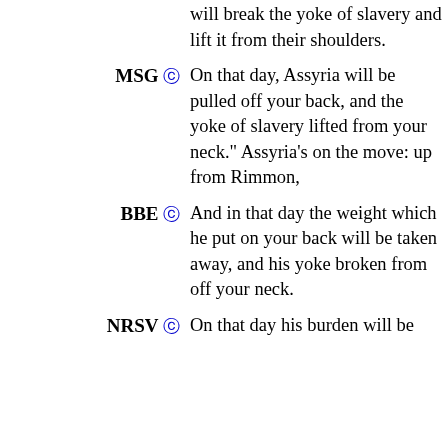will break the yoke of slavery and lift it from their shoulders.
MSG © On that day, Assyria will be pulled off your back, and the yoke of slavery lifted from your neck." Assyria's on the move: up from Rimmon,
BBE © And in that day the weight which he put on your back will be taken away, and his yoke broken from off your neck.
NRSV © On that day his burden will be